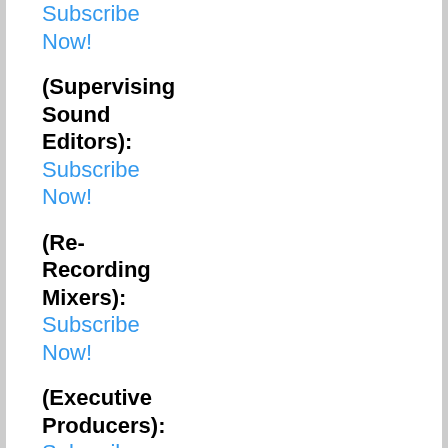Subscribe Now!
(Supervising Sound Editors): Subscribe Now!
(Re-Recording Mixers): Subscribe Now!
(Executive Producers): Subscribe Now!
(Co-Producers):